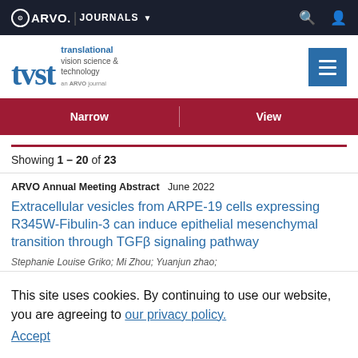ARVO. JOURNALS
[Figure (logo): TVST - translational vision science & technology, an ARVO journal logo with blue text and menu button]
Narrow | View
Showing 1 – 20 of 23
ARVO Annual Meeting Abstract   June 2022
Extracellular vesicles from ARPE-19 cells expressing R345W-Fibulin-3 can induce epithelial mesenchymal transition through TGFβ signaling pathway
Stephanie Louise Griko; Mi Zhou; Yuanjun zhao;
This site uses cookies. By continuing to use our website, you are agreeing to our privacy policy. Accept